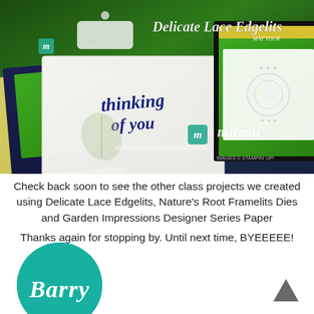[Figure (photo): Photograph of handmade greeting cards using Stampin' Up! products: Delicate Lace Edgelits dies, featuring a 'thinking of you' card in blue script on white card, green botanical backgrounds, navy and gold accents, white lace die-cut, and floral patterned paper. Text overlay reads 'Delicate Lace Edgelits' and watermark 'mitosu mitosustampin.blogspot.co.uk IMAGES © STAMPIN' UP!']
Check back soon to see the other class projects we created using Delicate Lace Edgelits, Nature's Root Framelits Dies and Garden Impressions Designer Series Paper
Thanks again for stopping by. Until next time, BYEEEEE!
[Figure (illustration): Teal/turquoise circular avatar with the name 'Barry' written in white italic script font]